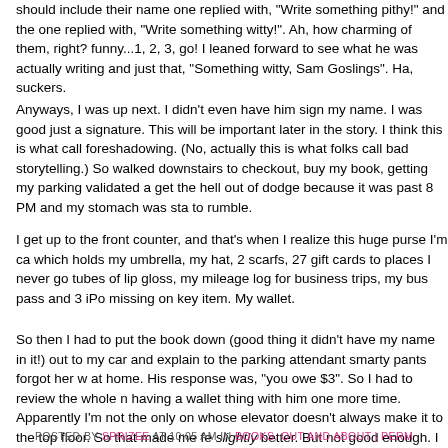should include their name one replied with, "Write something pithy!" and the one replied with, "Write something witty!".  Ah, how charming of them, right?  funny...1, 2, 3, go!  I leaned forward to see what he was actually writing and just that, "Something witty, Sam Goslings".  Ha, suckers.
Anyways, I was up next.  I didn't even have him sign my name.  I was good just a signature.  This will be important later in the story.  I think this is what call foreshadowing.  (No, actually this is what folks call bad storytelling.)   So walked downstairs to checkout, buy my book, getting my parking validated a get the hell out of dodge because it was past 8 PM and my stomach was sta to rumble.
I get up to the front counter, and that's when I realize this huge purse I'm ca which holds my umbrella, my hat, 2 scarfs, 27 gift cards to places I never go tubes of lip gloss, my mileage log for business trips, my bus pass and 3 iPo missing on key item.  My wallet.
So then I had to put the book down (good thing it didn't have my name in it!) out to my car and explain to the parking attendant smarty pants forgot her w at home.  His response was, "you owe $3".  So I had to review the whole n having a wallet thing with him one more time. Apparently I'm not the only on whose elevator doesn't always make it to the top floor.  So that made me fe slightly better.  But not good enough.  I still want that book!  Fascinating.
POSTED BY SPRIZEE AT 10:05 AM IN BOOKS, OUT AND ABOUT | PERM